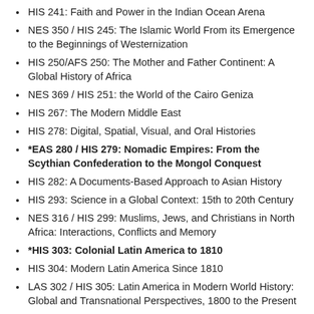HIS 241: Faith and Power in the Indian Ocean Arena
NES 350 / HIS 245: The Islamic World From its Emergence to the Beginnings of Westernization
HIS 250/AFS 250: The Mother and Father Continent: A Global History of Africa
NES 369 / HIS 251: the World of the Cairo Geniza
HIS 267: The Modern Middle East
HIS 278: Digital, Spatial, Visual, and Oral Histories
*EAS 280 / HIS 279: Nomadic Empires: From the Scythian Confederation to the Mongol Conquest
HIS 282: A Documents-Based Approach to Asian History
HIS 293: Science in a Global Context: 15th to 20th Century
NES 316 / HIS 299: Muslims, Jews, and Christians in North Africa: Interactions, Conflicts and Memory
*HIS 303: Colonial Latin America to 1810
HIS 304: Modern Latin America Since 1810
LAS 302 / HIS 305: Latin America in Modern World History: Global and Transnational Perspectives, 1800 to the Present
HIS 307: The Mongols in the Middle East
EAS 409/HIS 309: The Warrior Culture of Japan